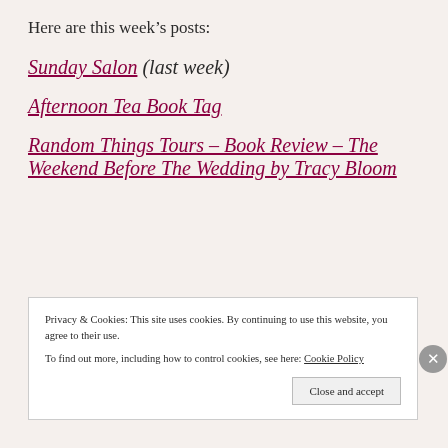Here are this week's posts:
Sunday Salon (last week)
Afternoon Tea Book Tag
Random Things Tours – Book Review – The Weekend Before The Wedding by Tracy Bloom
Privacy & Cookies: This site uses cookies. By continuing to use this website, you agree to their use. To find out more, including how to control cookies, see here: Cookie Policy
Close and accept